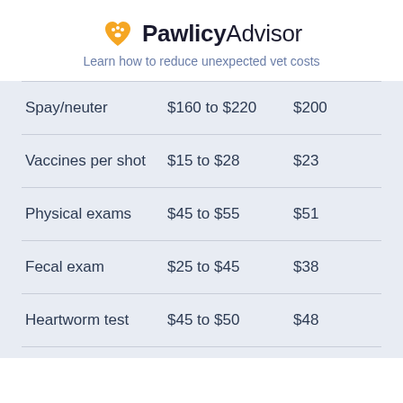PawlicyAdvisor
Learn how to reduce unexpected vet costs
|  |  |  |
| --- | --- | --- |
| Spay/neuter | $160 to $220 | $200 |
| Vaccines per shot | $15 to $28 | $23 |
| Physical exams | $45 to $55 | $51 |
| Fecal exam | $25 to $45 | $38 |
| Heartworm test | $45 to $50 | $48 |